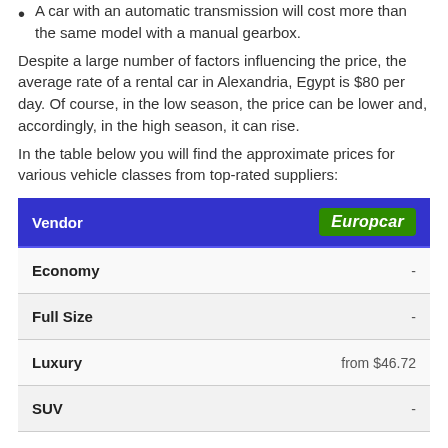A car with an automatic transmission will cost more than the same model with a manual gearbox.
Despite a large number of factors influencing the price, the average rate of a rental car in Alexandria, Egypt is $80 per day. Of course, in the low season, the price can be lower and, accordingly, in the high season, it can rise.
In the table below you will find the approximate prices for various vehicle classes from top-rated suppliers:
| Vendor | Europcar |
| --- | --- |
| Economy | - |
| Full Size | - |
| Luxury | from $46.72 |
| SUV | - |